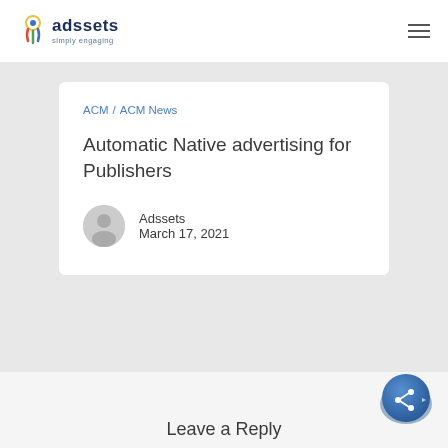adssets simply engaging
ACM  ACM News
Automatic Native advertising for Publishers
Adssets
March 17, 2021
Leave a Reply